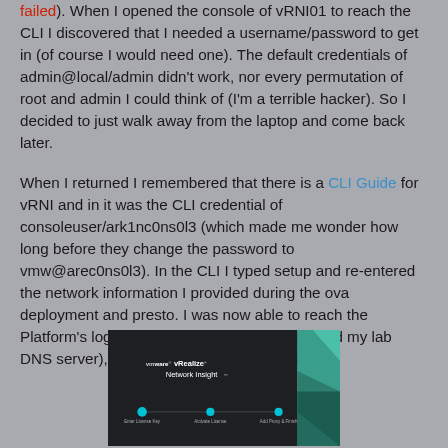failed). When I opened the console of vRNI01 to reach the CLI I discovered that I needed a username/password to get in (of course I would need one). The default credentials of admin@local/admin didn't work, nor every permutation of root and admin I could think of (I'm a terrible hacker). So I decided to just walk away from the laptop and come back later.

When I returned I remembered that there is a CLI Guide for vRNI and in it was the CLI credential of consoleuser/ark1nc0ns0l3 (which made me wonder how long before they change the password to vmw@arec0ns0l3). In the CLI I typed setup and re-entered the network information I provided during the ova deployment and presto. I was now able to reach the Platform's login page, https://vRNI31/ (I updated my lab DNS server), to proceed with the installation.
[Figure (screenshot): VMware vRealize Network Insight setup wizard screenshot showing Enter License Key, Activate License, and Add Proxy & Finish steps with teal progress dots connected by a line.]